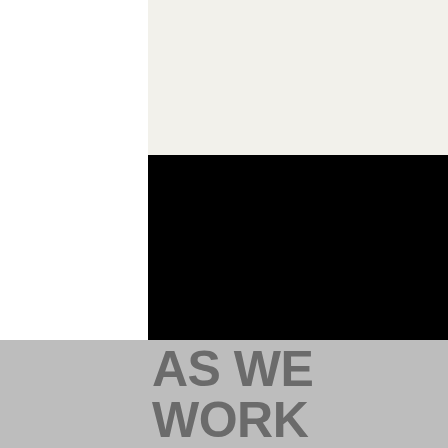[Figure (photo): Black rectangular image/photo area in the upper-center portion of the page]
AS WE WORK
Interdisciplinary collaboration within the team and with everyone      Cooperation partners
continuous workshops in partner schools of the